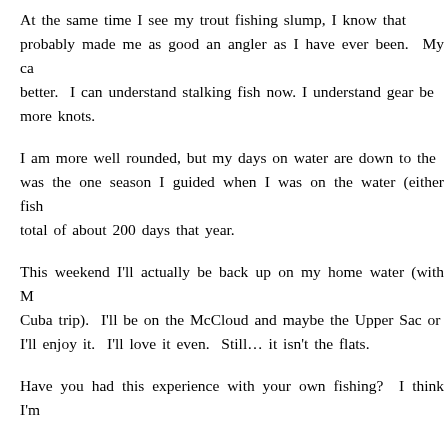At the same time I see my trout fishing slump, I know that it probably made me as good an angler as I have ever been. My casting is better. I can understand stalking fish now. I understand gear better. more knots.
I am more well rounded, but my days on water are down to that. It was the one season I guided when I was on the water (either fishing) a total of about 200 days that year.
This weekend I'll actually be back up on my home water (with M Cuba trip). I'll be on the McCloud and maybe the Upper Sac or I'll enjoy it. I'll love it even. Still… it isn't the flats.
Have you had this experience with your own fishing? I think I'm